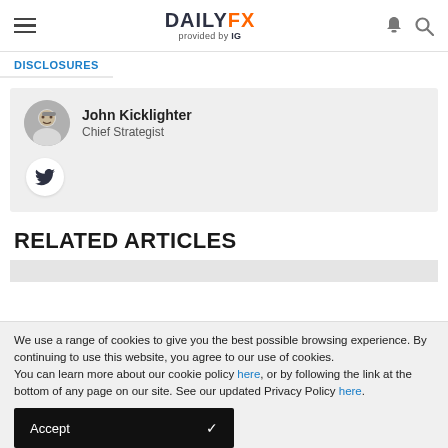DAILYFX provided by IG
DISCLOSURES
John Kicklighter
Chief Strategist
RELATED ARTICLES
We use a range of cookies to give you the best possible browsing experience. By continuing to use this website, you agree to our use of cookies.
You can learn more about our cookie policy here, or by following the link at the bottom of any page on our site. See our updated Privacy Policy here.
Accept